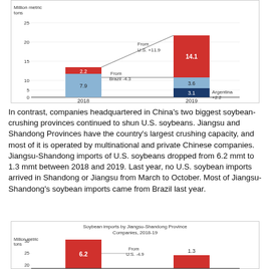[Figure (stacked-bar-chart): Soybean imports (top chart, partial)]
In contrast, companies headquartered in China's two biggest soybean-crushing provinces continued to shun U.S. soybeans. Jiangsu and Shandong Provinces have the country's largest crushing capacity, and most of it is operated by multinational and private Chinese companies. Jiangsu-Shandong imports of U.S. soybeans dropped from 6.2 mmt to 1.3 mmt between 2018 and 2019. Last year, no U.S. soybean imports arrived in Shandong or Jiangsu from March to October. Most of Jiangsu-Shandong's soybean imports came from Brazil last year.
[Figure (stacked-bar-chart): Soybean imports by Jiangsu-Shandong Province Companies, 2018-19]